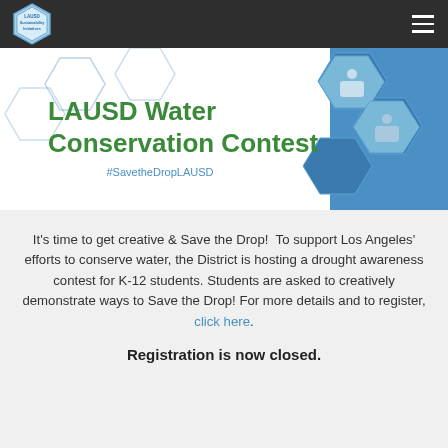LAUSD Sustainability Initiatives
[Figure (illustration): LAUSD Water Conservation Contest banner with blue hexagon background and photos of students. Text reads: LAUSD Water Conservation Contest #SavetheDropLAUSD]
It's time to get creative & Save the Drop!  To support Los Angeles' efforts to conserve water, the District is hosting a drought awareness contest for K-12 students. Students are asked to creatively demonstrate ways to Save the Drop! For more details and to register, click here.
Registration is now closed.